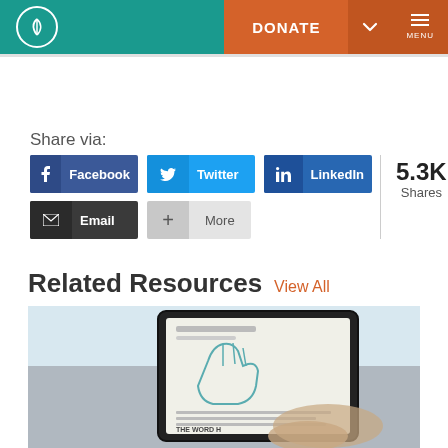[Figure (screenshot): Navigation bar with teal background, white sailboat logo circle on left, orange DONATE button, chevron dropdown, and hamburger MENU icon on right]
Share via:
[Figure (infographic): Social share buttons: Facebook (blue), Twitter (light blue), LinkedIn (dark blue), Email (dark gray), More (gray). Share count shows 5.3K Shares.]
Related Resources View All
[Figure (photo): Photo of a hand holding a tablet displaying a document with a hand illustration and text 'THE WORD H...']